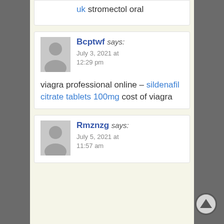uk stromectol oral
Bcptwf says: July 3, 2021 at 12:29 pm
viagra professional online – sildenafil citrate tablets 100mg cost of viagra
Rmznzg says: July 5, 2021 at 11:57 am